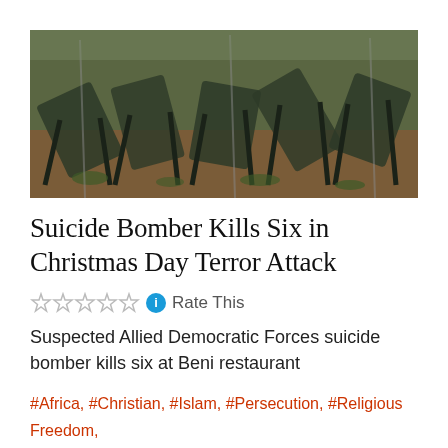[Figure (photo): Overturned green chairs and debris on a dirt ground, aftermath of explosion or attack.]
Suicide Bomber Kills Six in Christmas Day Terror Attack
☆☆☆☆☆ ℹ Rate This
Suspected Allied Democratic Forces suicide bomber kills six at Beni restaurant
#Africa, #Christian, #Islam, #Persecution, #Religious Freedom, #Uganda
[Figure (photo): Partial view of a second article image at the bottom of the page.]